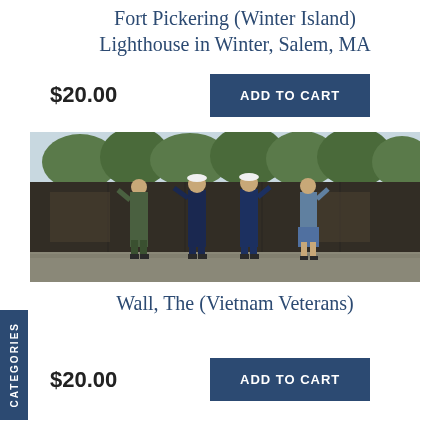Fort Pickering (Winter Island) Lighthouse in Winter, Salem, MA
$20.00
ADD TO CART
[Figure (illustration): Illustration of four military figures in uniform saluting at the Vietnam Veterans Memorial Wall, with trees in the background]
Wall, The (Vietnam Veterans)
$20.00
ADD TO CART